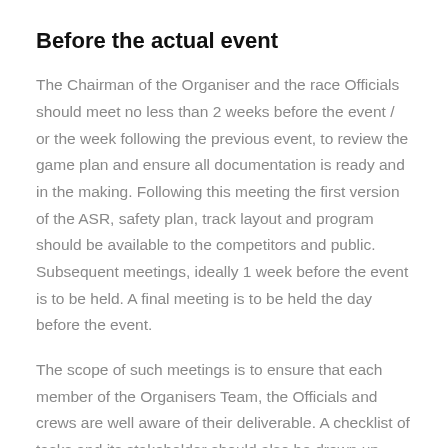Before the actual event
The Chairman of the Organiser and the race Officials should meet no less than 2 weeks before the event / or the week following the previous event, to review the game plan and ensure all documentation is ready and in the making. Following this meeting the first version of the ASR, safety plan, track layout and program should be available to the competitors and public. Subsequent meetings, ideally 1 week before the event is to be held. A final meeting is to be held the day before the event.
The scope of such meetings is to ensure that each member of the Organisers Team, the Officials and crews are well aware of their deliverable. A checklist of tasks and its stakeholder should also be drawn up. This checklist is to be built up per discipline (as it may vary) and reused and extended over time. The organiser is responsible to ensure